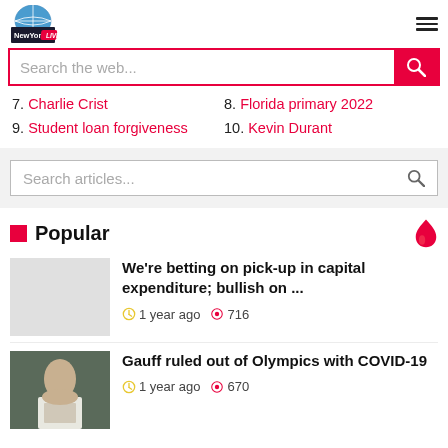NewYork 24 LIVE
Search the web...
7. Charlie Crist
8. Florida primary 2022
9. Student loan forgiveness
10. Kevin Durant
Search articles...
Popular
We're betting on pick-up in capital expenditure; bullish on ...
1 year ago  716
Gauff ruled out of Olympics with COVID-19
1 year ago  670